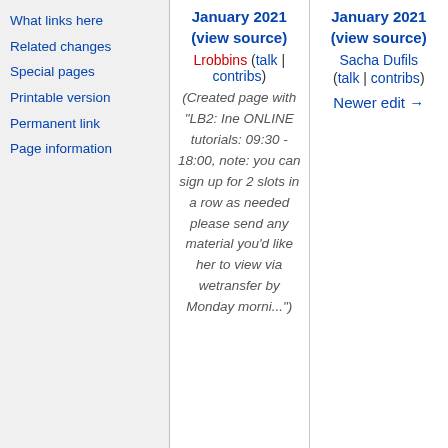What links here
Related changes
Special pages
Printable version
Permanent link
Page information
January 2021 (view source) Lrobbins (talk | contribs) (Created page with "LB2: Ine ONLINE tutorials: 09:30 - 18:00, note: you can sign up for 2 slots in a row as needed please send any material you'd like her to view via wetransfer by Monday morni...")
January 2021 (view source) Sacha Dufils (talk | contribs) Newer edit →